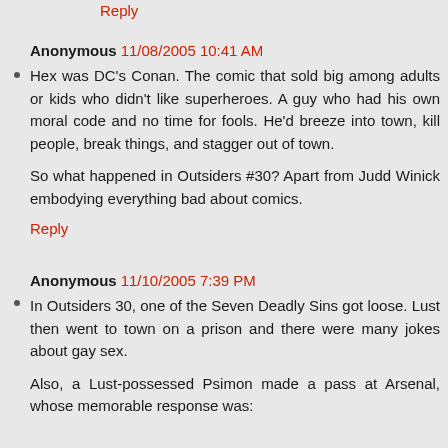Reply
Anonymous 11/08/2005 10:41 AM
Hex was DC's Conan. The comic that sold big among adults or kids who didn't like superheroes. A guy who had his own moral code and no time for fools. He'd breeze into town, kill people, break things, and stagger out of town.
So what happened in Outsiders #30? Apart from Judd Winick embodying everything bad about comics.
Reply
Anonymous 11/10/2005 7:39 PM
In Outsiders 30, one of the Seven Deadly Sins got loose. Lust then went to town on a prison and there were many jokes about gay sex.
Also, a Lust-possessed Psimon made a pass at Arsenal, whose memorable response was: